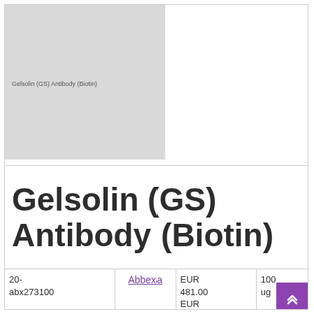[Figure (photo): Placeholder image for Gelsolin (GS) Antibody (Biotin) product with grey background and small label text]
Gelsolin (GS) Antibody (Biotin)
| ID | Supplier | Price | Quantity |
| --- | --- | --- | --- |
| 20-abx273100 | Abbexa | EUR 481.00
EUR 244.00
EUR 1414.00
EUR 662.00 | 100 ug
10 ug
1 mg
200 ug |